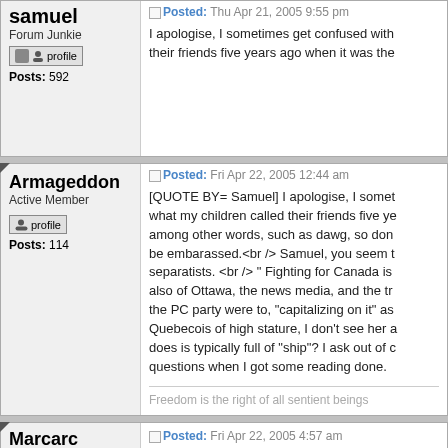samuel - Forum Junkie - Posts: 592
Posted: Thu Apr 21, 2005 9:55 pm - I apologise, I sometimes get confused with their friends five years ago when it was the
Armageddon - Active Member - Posts: 114
Posted: Fri Apr 22, 2005 12:44 am
[QUOTE BY= Samuel] I apologise, I somet... what my children called their friends five ye... among other words, such as dawg, so don... be embarassed.<br /> Samuel, you seem t... separatists. <br /> " Fighting for Canada is... also of Ottawa, the news media, and the tr... the PC party were to, "capitalizing on it" as... Quebecois of high stature, I don't see her a... does is typically full of "ship"? I ask out of c... questions when I got some reading done.
Freedom is the right of all sentient beings
Marcarc - Posted: Fri Apr 22, 2005 4:57 am